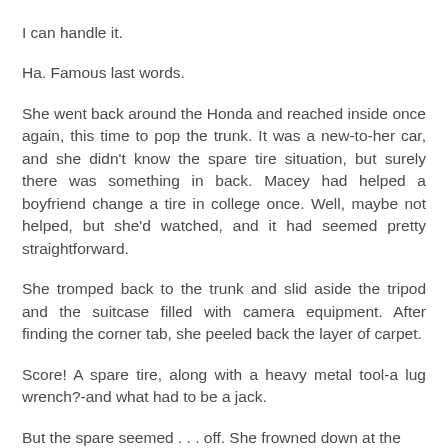I can handle it.
Ha. Famous last words.
She went back around the Honda and reached inside once again, this time to pop the trunk. It was a new-to-her car, and she didn't know the spare tire situation, but surely there was something in back. Macey had helped a boyfriend change a tire in college once. Well, maybe not helped, but she'd watched, and it had seemed pretty straightforward.
She tromped back to the trunk and slid aside the tripod and the suitcase filled with camera equipment. After finding the corner tab, she peeled back the layer of carpet.
Score! A spare tire, along with a heavy metal tool-a lug wrench?-and what had to be a jack.
But the spare seemed . . . off. She frowned down at the